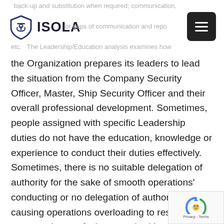back-up and substitution when required; communication, or gaps of communication and repo etc. The Leadership/Education analysis examines how
the Organization prepares its leaders to lead the situation from the Company Security Officer, Master, Ship Security Officer and their overall professional development. Sometimes, people assigned with specific Leadership duties do not have the education, knowledge or experience to conduct their duties effectively. Sometimes, there is no suitable delegation of authority for the sake of smooth operations' conducting or no delegation of authority at all, causing operations overloading to responsible personnel or confusion to authorities, duties and responsibilities. Additionally, sometimes, there is a lack of resources needed to conduct efficient operations e.g. time, money, peo etc. Lack of adequate infrastructure and installatio required to facilitate the needs of efficient operati...